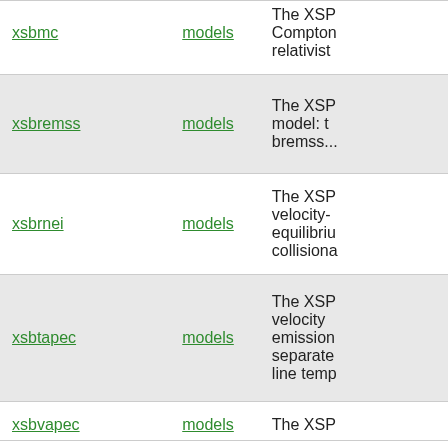| Name | Category | Description |
| --- | --- | --- |
| xsbmc | models | The XSP... Compton... relativist... |
| xsbremss | models | The XSP... model: t... bremss... |
| xsbrnei | models | The XSP... velocity-... equilibriu... collisiona... |
| xsbtapec | models | The XSP... velocity ... emission... separate... line temp... |
| xsbvapec | models | The XSP... |